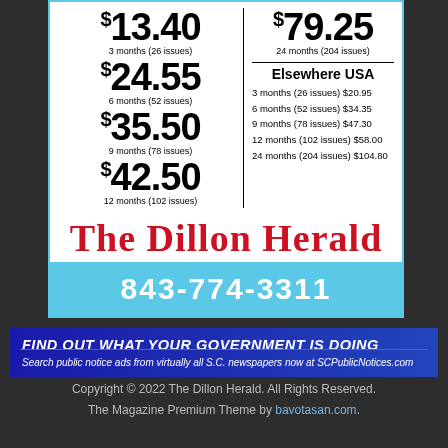[Figure (infographic): Newspaper subscription advertisement for The Dillon Herald showing local and Elsewhere USA pricing tiers, the newspaper nameplate in red gothic font, and phone number 843-774-3311 on a light blue bar.]
[Figure (infographic): Blue banner ad: 'FIND OUT WHAT YOUR GOVERNMENT IS DOING - Search public notice ads from virtually all S.C. newspapers now at SCPublicNotices.com']
Copyright © 2022 The Dillon Herald. All Rights Reserved. The Magazine Premium Theme by bavotasan.com.